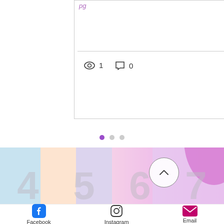[Figure (screenshot): Blog post card with view count (1), comment count (0), and heart/like icon. A horizontal divider line separates the content from the interaction row.]
[Figure (illustration): Carousel pagination dots: one filled purple dot followed by two grey dots.]
[Figure (illustration): Section background with pastel colored vertical bands (blue, peach, lavender, pink) and a pink glittery butterfly/cupcake decoration. Large faded numbers 4 5 6 7 8 visible. A circular back-to-top arrow button is overlaid.]
[Figure (illustration): Footer social links: Facebook icon and label, Instagram icon and label, Email icon and label.]